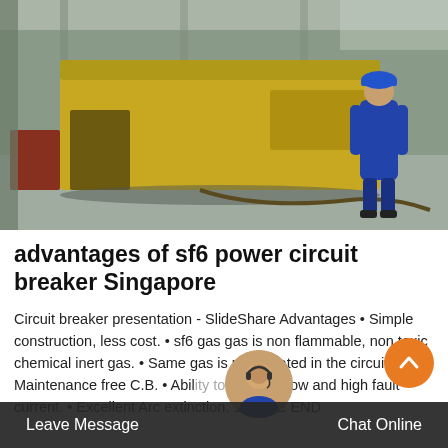[Figure (photo): Industrial/factory interior scene with a worker in blue coveralls and hard hat standing near a large yellow vehicle or equipment, gray floor, green-painted pillars and walls]
advantages of sf6 power circuit breaker Singapore
Circuit breaker presentation - SlideShare Advantages • Simple construction, less cost. • sf6 gas gas is non flammable, non toxic chemical inert gas. • Same gas is recirculated in the circuit. Maintenance free C.B. • Ability to interrupt low and high fault current. • Excellent Arc extinction. 15. THE END
Leave Message   Chat Online